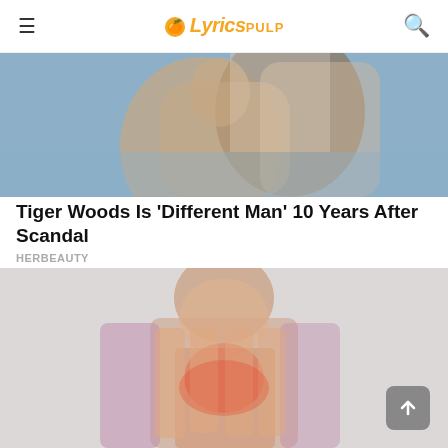🍊 LyricsPULP
[Figure (photo): Close-up of a woman and man, the man appears to be whispering to or kissing the woman's cheek, romantic scene with soft blue background.]
Tiger Woods Is 'Different Man' 10 Years After Scandal
HERBEAUTY
[Figure (photo): Asian woman in a pink/mauve top holding her hand, with a red/inflamed area visible at the wrist/hand, suggesting pain or arthritis, against a light grey background.]